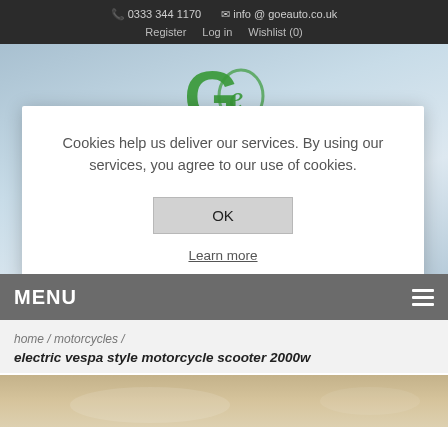☎ 0333 344 1170   ✉ info @ goeauto.co.uk   Register   Log in   Wishlist (0)
[Figure (logo): Go Auto green logo with stylized G and cursive e inside a leaf shape on a light blue-grey gradient background]
Cookies help us deliver our services. By using our services, you agree to our use of cookies.
OK
Learn more
MENU
home / motorcycles /
electric vespa style motorcycle scooter 2000w
[Figure (photo): Partial view of electric vespa style motorcycle scooter product image]